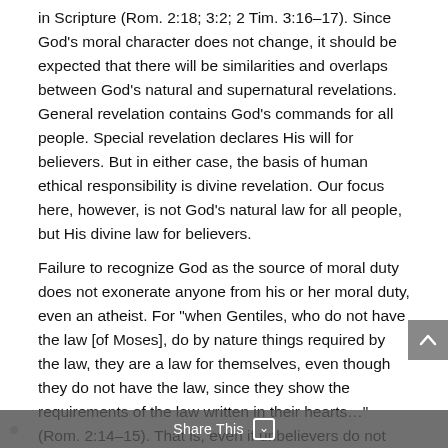in Scripture (Rom. 2:18; 3:2; 2 Tim. 3:16–17). Since God's moral character does not change, it should be expected that there will be similarities and overlaps between God's natural and supernatural revelations. General revelation contains God's commands for all people. Special revelation declares His will for believers. But in either case, the basis of human ethical responsibility is divine revelation. Our focus here, however, is not God's natural law for all people, but His divine law for believers.
Failure to recognize God as the source of moral duty does not exonerate anyone from his or her moral duty, even an atheist. For "when Gentiles, who do not have the law [of Moses], do by nature things required by the law, they are a law for themselves, even though they do not have the law, since they show the requirements of the law written in their hearts…" (Rom. 2:14–15). That is, even if unbelievers do not have the moral law on their minds, they still have it written on their hearts. Even if they do not know it by way of cognition, they show it by way of inclination. Paul declared that even sodomites manifest that their actions are